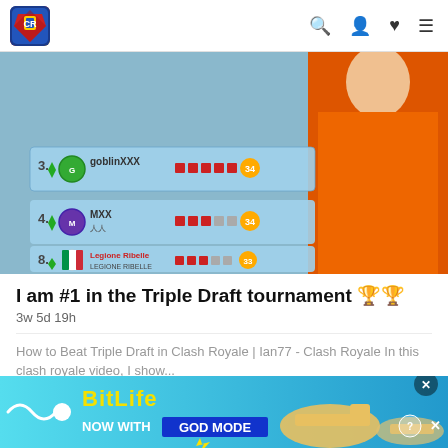Navigation bar with logo, search, user, heart, and menu icons
[Figure (screenshot): Clash Royale Triple Draft tournament leaderboard screenshot showing goblinXXX, MXX ranked players with trophies 34 and 33, alongside person in orange shirt]
I am #1 in the Triple Draft tournament 🏆🏆
3w 5d 19h
How to Beat Triple Draft in Clash Royale | Ian77 - Clash Royale In this clash royale video, I show...
[Figure (photo): Dancing cat on a stage with spotlights against dark background]
[Figure (screenshot): BitLife advertisement banner - NOW WITH GOD MODE in blue button with lightning bolt, with hand pointer graphic and close/help buttons]